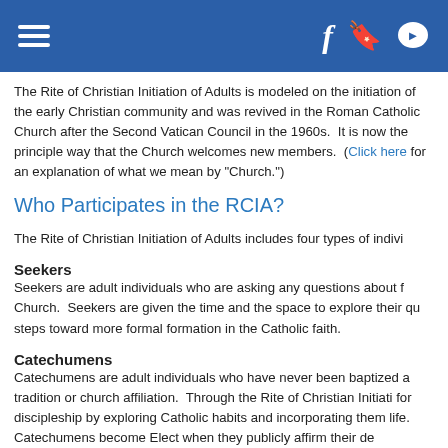Navigation header with hamburger menu and social icons (Facebook, Blogger, Chat)
The Rite of Christian Initiation of Adults is modeled on the initiation of the early Christian community and was revived in the Roman Catholic Church after the Second Vatican Council in the 1960s. It is now the principle way that the Church welcomes new members. (Click here for an explanation of what we mean by "Church.")
Who Participates in the RCIA?
The Rite of Christian Initiation of Adults includes four types of indivi
Seekers
Seekers are adult individuals who are asking any questions about f Church. Seekers are given the time and the space to explore their qu steps toward more formal formation in the Catholic faith.
Catechumens
Catechumens are adult individuals who have never been baptized a tradition or church affiliation. Through the Rite of Christian Initiati for discipleship by exploring Catholic habits and incorporating them life. Catechumens become Elect when they publicly affirm their de